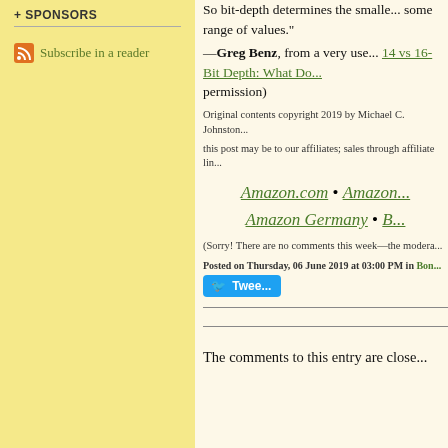+ SPONSORS
Subscribe in a reader
So bit-depth determines the smalle... some range of values."
—Greg Benz, from a very use... 14 vs 16-Bit Depth: What Do... permission)
Original contents copyright 2019 by Michael C. Johnston...
this post may be to our affiliates; sales through affiliate lin...
Amazon.com • Amazon... Amazon Germany • B...
(Sorry! There are no comments this week—the modera...
Posted on Thursday, 06 June 2019 at 03:00 PM in Bon...
Tweet
The comments to this entry are close...